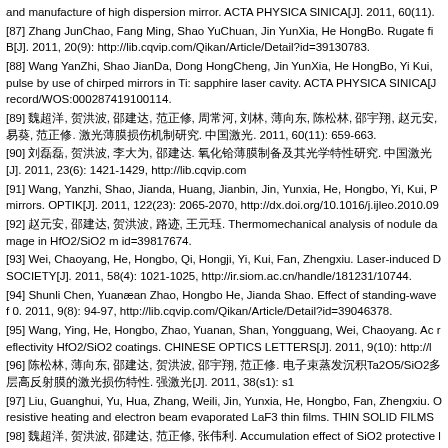and manufacture of high dispersion mirror. ACTA PHYSICA SINICA[J]. 2011, 60(11).
[87] Zhang JunChao, Fang Ming, Shao YuChuan, Jin YunXia, He HongBo. Rugate fi B[J]. 2011, 20(9): http://lib.cqvip.com/Qikan/Article/Detail?id=39130783.
[88] Wang YanZhi, Shao JianDa, Dong HongCheng, Jin YunXia, He HongBo, Yi Kui, pulse by use of chirped mirrors in Ti: sapphire laser cavity. ACTA PHYSICA SINICA[J record/WOS:000287419100114.
[89] 魏超洋, 贺洪波, 邵建达, 范正修, 周常河, 刘林, 薄向东, 陈松林, 邵宇翔, 赵元安, 易葵, 范正修. 激光薄膜损伤机制研究. 中国激光. 2011, 60(11): 659-663.
[90] 刘磊磊, 贺洪波, 李大为, 邵建达. 氧化铪薄膜制备及其光学特性研究. 中国激光[J]. 2011, 23(6): 1421-1429, http://lib.cqvip.com
[91] Wang, Yanzhi, Shao, Jianda, Huang, Jianbin, Jin, Yunxia, He, Hongbo, Yi, Kui, P mirrors. OPTIK[J]. 2011, 122(23): 2065-2070, http://dx.doi.org/10.1016/j.ijleo.2010.09
[92] 赵元安, 邵建达, 贺洪波, 路迹, 王元珏. Thermomechanical analysis of nodule damage in HfO2/SiO2 m id=39817674.
[93] Wei, Chaoyang, He, Hongbo, Qi, Hongji, Yi, Kui, Fan, Zhengxiu. Laser-induced D SOCIETY[J]. 2011, 58(4): 1021-1025, http://ir.siom.ac.cn/handle/181231/10744.
[94] Shunli Chen, Yuanæan Zhao, Hongbo He, Jianda Shao. Effect of standing-wave f 0. 2011, 9(8): 94-97, http://lib.cqvip.com/Qikan/Article/Detail?id=39046378.
[95] Wang, Ying, He, Hongbo, Zhao, Yuanan, Shan, Yongguang, Wei, Chaoyang. Ac reflectivity HfO2/SiO2 coatings. CHINESE OPTICS LETTERS[J]. 2011, 9(10): http://l
[96] 陈松林, 薄向东, 邵建达, 贺洪波, 邵宇翔, 范正修. 电子束蒸发沉积Ta2O5/SiO2多层高反射膜的激光损伤特性. 强激光[J]. 2011, 38(s1): s1
[97] Liu, Guanghui, Yu, Hua, Zhang, Weili, Jin, Yunxia, He, Hongbo, Fan, Zhengxiu. O resistive heating and electron beam evaporated LaF3 thin films. THIN SOLID FILMS
[98] 魏超洋, 贺洪波, 邵建达, 范正修, 张伟利. Accumulation effect of SiO2 protective layer on multi-shot lase
99. http://lib.cqvip.com/Qikan/Article/Detail?id=39817670